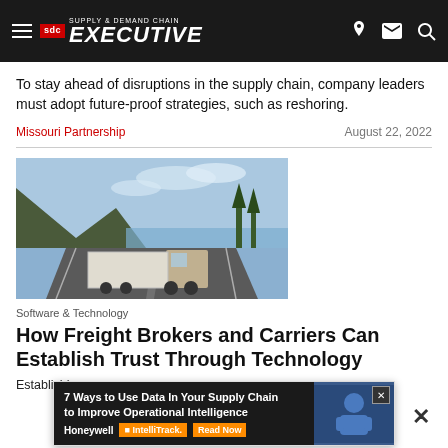Supply & Demand Chain Executive
To stay ahead of disruptions in the supply chain, company leaders must adopt future-proof strategies, such as reshoring.
Missouri Partnership    August 22, 2022
[Figure (photo): A large semi truck driving on a highway with mountains and water in background]
Software & Technology
How Freight Brokers and Carriers Can Establish Trust Through Technology
Establishing trust between freight brokers and carriers is key to long-
[Figure (infographic): Advertisement banner: 7 Ways to Use Data In Your Supply Chain to Improve Operational Intelligence - Honeywell IntelliTrack. Read Now]